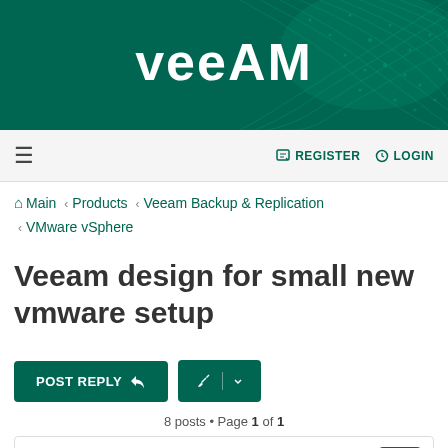Veeam
REGISTER  LOGIN
Main › Products › Veeam Backup & Replication › VMware vSphere
Veeam design for small new vmware setup
POST REPLY
8 posts • Page 1 of 1
fspeece
Novice
Veeam design for small new vmware setup
Apr 10, 2015 8:58 pm